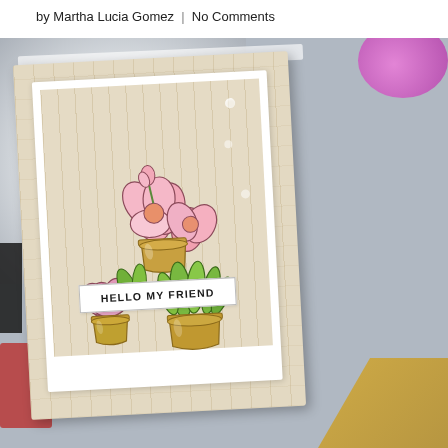by Martha Lucia Gomez  |  No Comments
[Figure (photo): A handmade greeting card featuring illustrated succulents and flowers in terracotta pots with a 'HELLO MY FRIEND' banner, photographed on a lace doily with pebbles, a pink ornament, and crafting supplies in the background.]